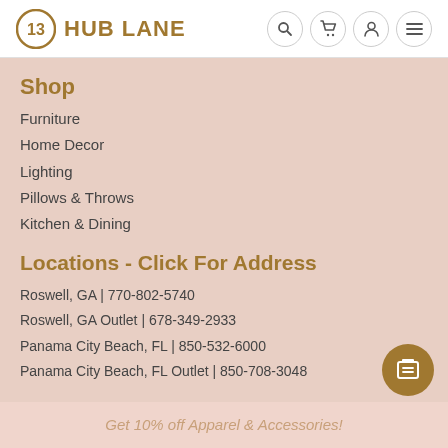Hub Lane
Shop
Furniture
Home Decor
Lighting
Pillows & Throws
Kitchen & Dining
Locations - Click For Address
Roswell, GA | 770-802-5740
Roswell, GA Outlet | 678-349-2933
Panama City Beach, FL | 850-532-6000
Panama City Beach, FL Outlet | 850-708-3048
Get 10% off Apparel & Accessories!